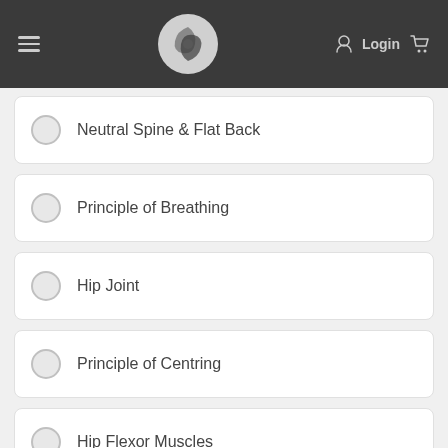Login
Neutral Spine & Flat Back
Principle of Breathing
Hip Joint
Principle of Centring
Hip Flexor Muscles